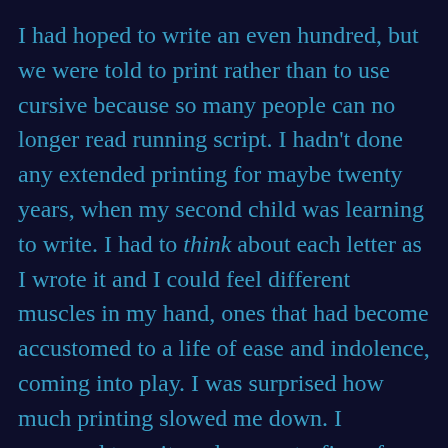I had hoped to write an even hundred, but we were told to print rather than to use cursive because so many people can no longer read running script. I hadn't done any extended printing for maybe twenty years, when my second child was learning to write. I had to think about each letter as I wrote it and I could feel different muscles in my hand, ones that had become accustomed to a life of ease and indolence, coming into play. I was surprised how much printing slowed me down. I managed to write only seventy-five of these letters (they came in sets of twenty-five), so I was a little disappointed with my output, but am still very grateful have found a way to have, I hope, persuaded some more people to vote